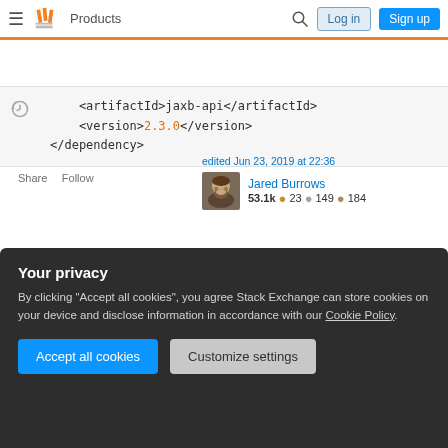Stack Overflow navigation: hamburger menu, logo, Products, search, Log in, Sign up
<artifactId>jaxb-api</artifactId>
<version>2.3.0</version>
</dependency>
Share   Follow
edited Jun 23, 2019 at 22:36
Jared Burrows
53.1k • 23 • 149 • 184
answered Oct 29, 2018 at 6:34
Cesar Rodriguez
589 • 4 • 7
Your privacy
By clicking "Accept all cookies", you agree Stack Exchange can store cookies on your device and disclose information in accordance with our Cookie Policy.
Accept all cookies   Customize settings